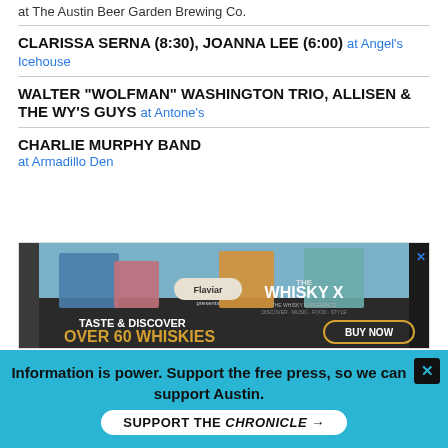at The Austin Beer Garden Brewing Co.
CLARISSA SERNA (8:30), JOANNA LEE (6:00) at Angel's Icehouse
WALTER "WOLFMAN" WASHINGTON TRIO, ALLISEN & THE WY'S GUYS at Antone's
CHARLIE MURPHY BAND at Armadillo Den
[Figure (photo): Advertisement for The Whisky X event by Flaviar. Shows four men in colorful suits. Text reads: TASTE & DISCOVER OVER 60 WHISKIES. BUY NOW. Thursday, Sept. 20th – Austin Convention Center.]
Information is power. Support the free press, so we can support Austin. SUPPORT THE CHRONICLE →